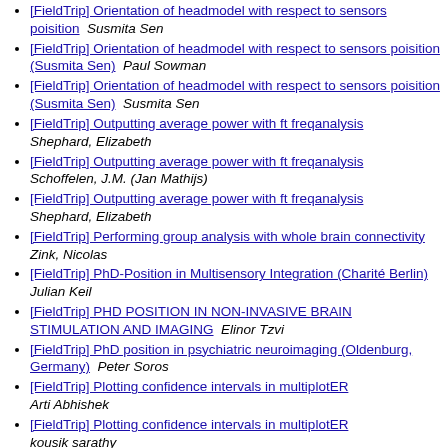[FieldTrip] Orientation of headmodel with respect to sensors poisition  Susmita Sen
[FieldTrip] Orientation of headmodel with respect to sensors poisition (Susmita Sen)  Paul Sowman
[FieldTrip] Orientation of headmodel with respect to sensors poisition (Susmita Sen)  Susmita Sen
[FieldTrip] Outputting average power with ft_freqanalysis  Shephard, Elizabeth
[FieldTrip] Outputting average power with ft_freqanalysis  Schoffelen, J.M. (Jan Mathijs)
[FieldTrip] Outputting average power with ft_freqanalysis  Shephard, Elizabeth
[FieldTrip] Performing group analysis with whole brain connectivity  Zink, Nicolas
[FieldTrip] PhD-Position in Multisensory Integration (Charité Berlin)  Julian Keil
[FieldTrip] PHD POSITION IN NON-INVASIVE BRAIN STIMULATION AND IMAGING  Elinor Tzvi
[FieldTrip] PhD position in psychiatric neuroimaging (Oldenburg, Germany)  Peter Soros
[FieldTrip] Plotting confidence intervals in multiplotER  Arti Abhishek
[FieldTrip] Plotting confidence intervals in multiplotER  kousik sarathy
[FieldTrip] plotting freesurfer mesh on the mri_aligned,